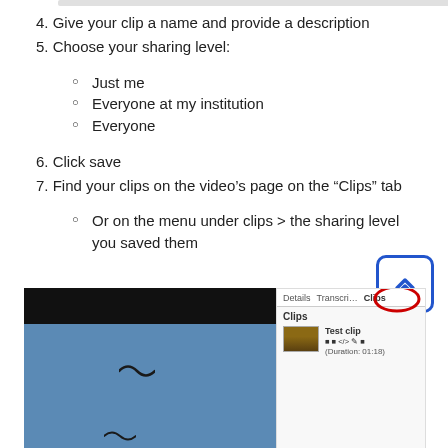4. Give your clip a name and provide a description
5. Choose your sharing level:
Just me
Everyone at my institution
Everyone
6. Click save
7. Find your clips on the video's page on the “Clips” tab
Or on the menu under clips > the sharing level you saved them
[Figure (screenshot): Screenshot showing a video player with birds flying against a blue sky, and a side panel showing the Clips tab with a test clip listed (Duration: 01:18). The Clips tab is circled in red.]